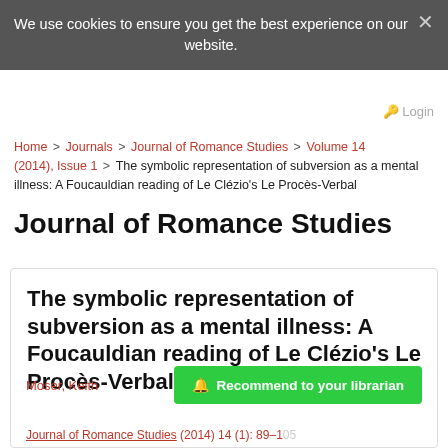We use cookies to ensure you get the best experience on our website.
Home > Journals > Journal of Romance Studies > Volume 14 (2014), Issue 1 > The symbolic representation of subversion as a mental illness: A Foucauldian reading of Le Clézio's Le Procès-Verbal
Journal of Romance Studies
The symbolic representation of subversion as a mental illness: A Foucauldian reading of Le Clézio's Le Procès-Verbal
Moser, Keith
Journal of Romance Studies (2014) 14 (1): 89–105